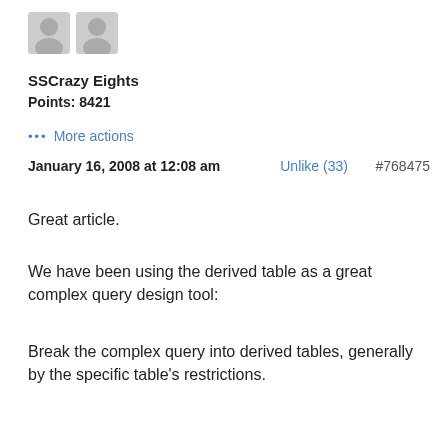[Figure (illustration): Two grey placeholder user avatar icons side by side]
SSCrazy Eights
Points: 8421
··· More actions
January 16, 2008 at 12:08 am    Unlike (33)    #768475
Great article.
We have been using the derived table as a great complex query design tool:
Break the complex query into derived tables, generally by the specific table's restrictions.
Then JOIN the individual derived table queries into the complex query.